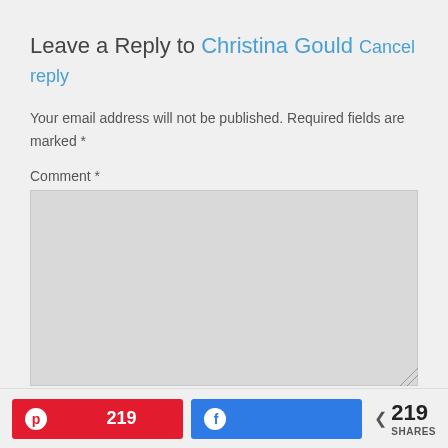Leave a Reply to Christina Gould Cancel reply
Your email address will not be published. Required fields are marked *
Comment *
[Figure (other): Empty comment textarea input box with light gray background and resize handle]
[Figure (other): Social sharing footer bar with Pinterest button showing 219, Facebook button, and total 219 SHARES count]